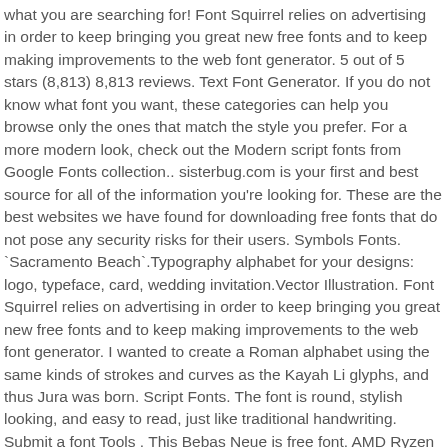what you are searching for! Font Squirrel relies on advertising in order to keep bringing you great new free fonts and to keep making improvements to the web font generator. 5 out of 5 stars (8,813) 8,813 reviews. Text Font Generator. If you do not know what font you want, these categories can help you browse only the ones that match the style you prefer. For a more modern look, check out the Modern script fonts from Google Fonts collection.. sisterbug.com is your first and best source for all of the information you're looking for. These are the best websites we have found for downloading free fonts that do not pose any security risks for their users. Symbols Fonts. `Sacramento Beach`.Typography alphabet for your designs: logo, typeface, card, wedding invitation.Vector Illustration. Font Squirrel relies on advertising in order to keep bringing you great new free fonts and to keep making improvements to the web font generator. I wanted to create a Roman alphabet using the same kinds of strokes and curves as the Kayah Li glyphs, and thus Jura was born. Script Fonts. The font is round, stylish looking, and easy to read, just like traditional handwriting. Submit a font Tools . This Bebas Neue is free font. AMD Ryzen 5 5600X overclocked at 4.8 GHz: Is it worth it? Alphabet Cursif Calligraphy Fonts Alphabet Handwriting Alphabet Hand Lettering Alphabet Cursive Letters